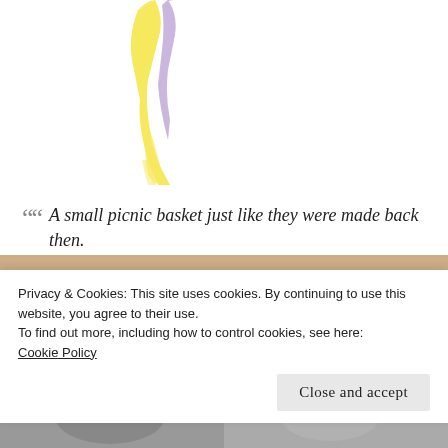[Figure (illustration): Abstract illustration with yellow and purple brushstroke or lightning bolt shapes on white background]
“ A small picnic basket just like they were made back then.
[Figure (photo): Partial photo with brown/tan texture at top and purple banner overlay, partially obscured by cookie consent overlay]
Privacy & Cookies: This site uses cookies. By continuing to use this website, you agree to their use.
To find out more, including how to control cookies, see here:
Cookie Policy
Close and accept
[Figure (photo): Black and white photo strip at the bottom of the page, partially visible]